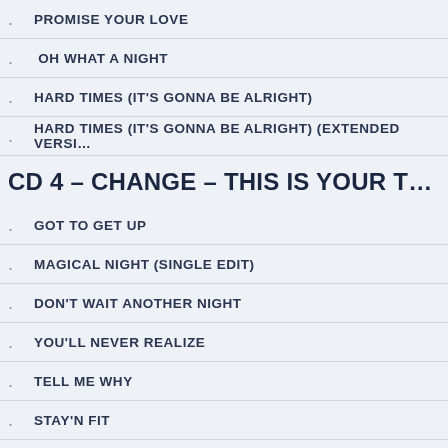PROMISE YOUR LOVE
OH WHAT A NIGHT
HARD TIMES (IT'S GONNA BE ALRIGHT)
HARD TIMES (IT'S GONNA BE ALRIGHT) (EXTENDED VERSI…
CD 4 – CHANGE – THIS IS YOUR TI…
GOT TO GET UP
MAGICAL NIGHT (SINGLE EDIT)
DON'T WAIT ANOTHER NIGHT
YOU'LL NEVER REALIZE
TELL ME WHY
STAY'N FIT
MAGICAL NIGHT
ANGEL
THIS IS YOUR TIME
GOT TO GET UP (EXTENDED VERSION)
CD 5 – CHANGE – TURN ON YOUR…
TURN ON YOUR RADIO